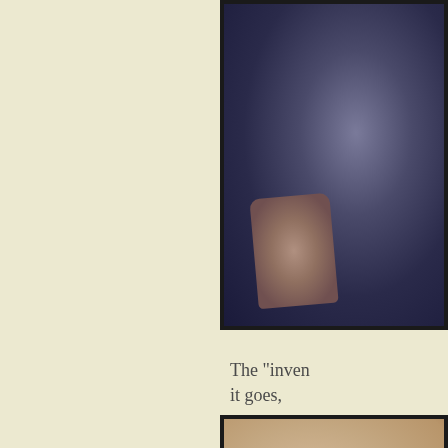[Figure (photo): Blurred close-up photograph with dark blue-purple tones and a brownish-pink subject, framed with thick black border, positioned in upper right]
The "invent
it goes,
[Figure (photo): Blurred close-up photograph with warm beige/tan tones, framed with thick black border, positioned in lower right, partially cut off]